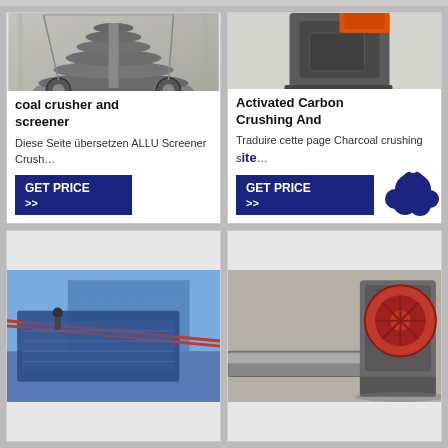[Figure (photo): Coal crusher and screener industrial machine in factory setting]
coal crusher and screener
Diese Seite übersetzen ALLU Screener Crush…
[Figure (other): GET PRICE >> button]
[Figure (photo): Activated Carbon Crushing machine, dark grey industrial crusher with orange top hopper]
Activated Carbon Crushing And
Traduire cette page Charcoal crushing s…e...
[Figure (other): GET PRICE >> button with notification bell icon overlay]
[Figure (photo): Industrial vibrating screener machine outdoors]
[Figure (photo): Jaw crusher industrial machine with red and grey components]